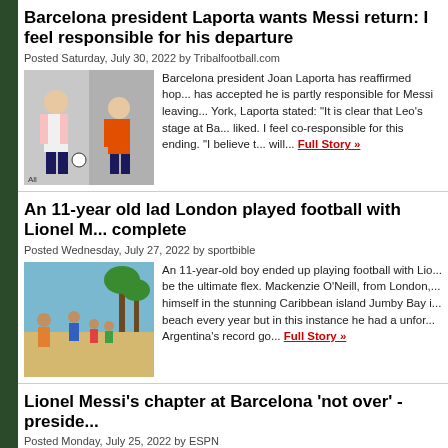Barcelona president Laporta wants Messi return: I feel responsible for his departure
Posted Saturday, July 30, 2022 by Tribalfootball.com
[Figure (photo): Photo of Lionel Messi in PSG white kit alongside another player in orange kit]
Barcelona president Joan Laporta has reaffirmed hop... has accepted he is partly responsible for Messi leaving... York, Laporta stated: "It is clear that Leo's stage at Ba... liked. I feel co-responsible for this ending. "I believe t... will... Full Story »
An 11-year old lad London played football with Lionel M... complete
Posted Wednesday, July 27, 2022 by sportbible
[Figure (photo): Photo of people playing football on a Caribbean beach, Jumby Bay island]
An 11-year-old boy ended up playing football with Lio... be the ultimate flex. Mackenzie O'Neill, from London,... himself in the stunning Caribbean island Jumby Bay i... beach every year but in this instance he had a unfor... Argentina's record go... Full Story »
Lionel Messi's chapter at Barcelona 'not over' - preside...
Posted Monday, July 25, 2022 by ESPN
[Figure (photo): Photo of Lionel Messi]
Lionel Messi scored just six goals in Ligue 1 with PSG... Laporta has told ESPN that Lionel Messi's "chapter" a... big responsibility to ensure the forward has a "more...